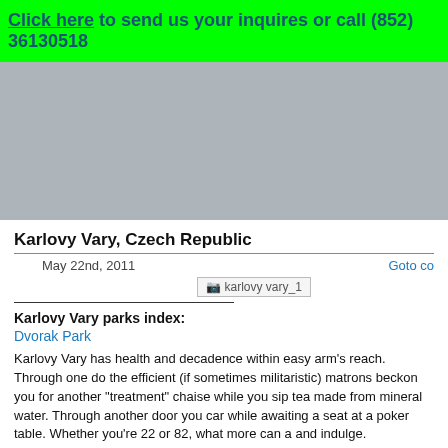Click here to send us your inquires or call (852) 36130518
[Figure (other): Advertisement banner placeholder (gray rectangle)]
Karlovy Vary, Czech Republic
May 22nd, 2011
Goto co
[Figure (photo): Image placeholder: karlovy vary_1]
Karlovy Vary parks index:
Dvorak Park
Karlovy Vary has health and decadence within easy arm's reach. Through one do the efficient (if sometimes militaristic) matrons beckon you for another "treatment" chaise while you sip tea made from mineral water. Through another door you car while awaiting a seat at a poker table. Whether you're 22 or 82, what more can a and indulge.